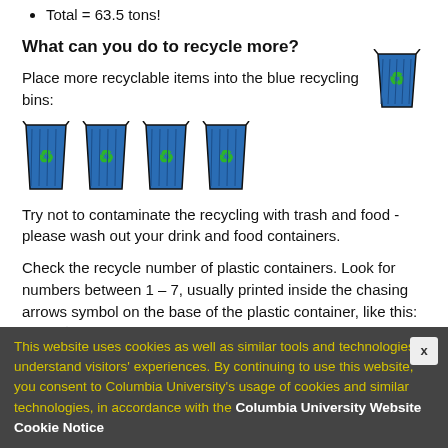Total = 63.5 tons!
What can you do to recycle more?
Place more recyclable items into the blue recycling bins:
[Figure (illustration): Five blue recycling bins with recycling symbol — one upper right, four in a row below the text]
Try not to contaminate the recycling with trash and food - please wash out your drink and food containers.
Check the recycle number of plastic containers. Look for numbers between 1 – 7, usually printed inside the chasing arrows symbol on the base of the plastic container, like this:
[Figure (illustration): Partial view of recycling chasing arrows symbol (hexagonal outline) at bottom of page]
This website uses cookies as well as similar tools and technologies to understand visitors' experiences. By continuing to use this website, you consent to Columbia University's usage of cookies and similar technologies, in accordance with the Columbia University Website Cookie Notice